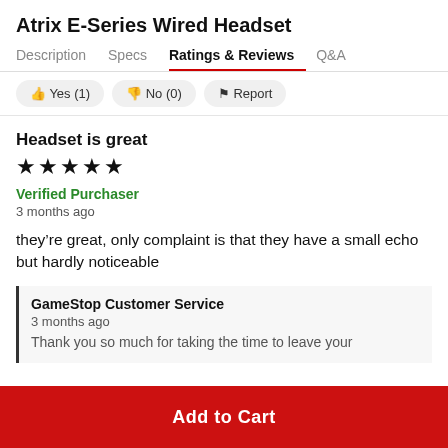Atrix E-Series Wired Headset
Description   Specs   Ratings & Reviews   Q&A
Yes (1)   No (0)   Report
Headset is great
★★★★★
Verified Purchaser
3 months ago
they're great, only complaint is that they have a small echo but hardly noticeable
GameStop Customer Service
3 months ago
Thank you so much for taking the time to leave your
Add to Cart